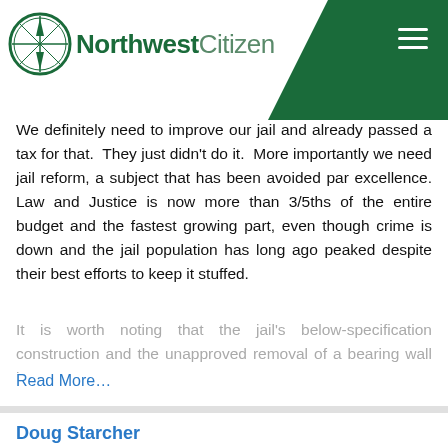Northwest Citizen
We definitely need to improve our jail and already passed a tax for that.  They just didn't do it.  More importantly we need jail reform, a subject that has been avoided par excellence. Law and Justice is now more than 3/5ths of the entire budget and the fastest growing part, even though crime is down and the jail population has long ago peaked despite their best efforts to keep it stuffed.
It is worth noting that the jail's below-specification construction and the unapproved removal of a bearing wall is...
Read More...
Doug Starcher
Sep 24, 2015
Here is the link to the needs assessment from the Sheriffs page. I am confident this has been de bunked. http://www.co.whatcom.wa.us/DocumentCenter/View/1014 ironically one of the places is here http://www.whatcomcounty.us/ArchiveCenter/ViewFile/Item/786 Par Tin's research document pages 206-207.